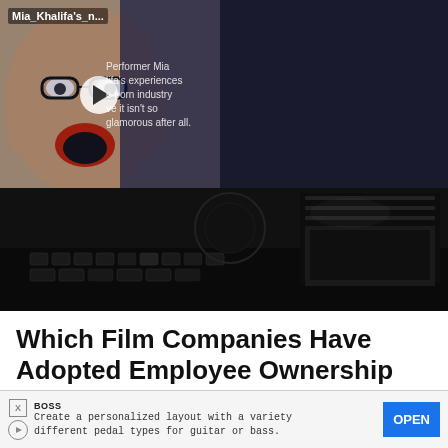[Figure (screenshot): Video thumbnail showing a person with hands on face with shocked expression, overlaid with play button and partial text about performer Mia and porn industry. Dark blue overlay with text panel showing video title.]
Mia_Khalifa's_n...
Performer Mia lifa's experiences e porn industry ve it isn't so glamorous after all.
Mia_Khalifa's_net_worth_Proving_the_porn_industry_isn't_what_you_think_1080p
[Figure (photo): Dark image of film strips and keyboard/recording equipment against black background]
Which Film Companies Have Adopted Employee Ownership Already?
As we've demonstrated, employee ownership models can be extremely beneficial for business, but would this model work in the film industry?
[Figure (screenshot): Bottom advertisement banner with BOSS brand, text about personalized layout with pedal types for guitar or bass, and OPEN button]